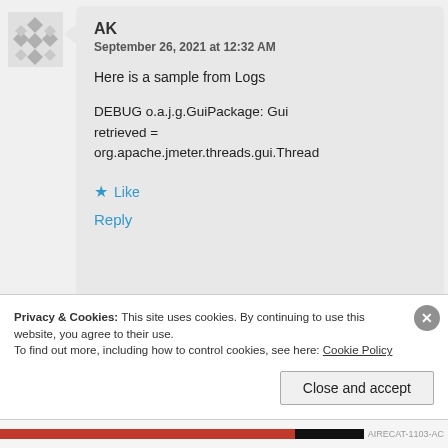[Figure (illustration): Gray diamond/snowflake pattern avatar icon]
AK
September 26, 2021 at 12:32 AM
Here is a sample from Logs
DEBUG o.a.j.g.GuiPackage: Gui retrieved = org.apache.jmeter.threads.gui.Thread
Like
Reply
Privacy & Cookies: This site uses cookies. By continuing to use this website, you agree to their use.
To find out more, including how to control cookies, see here: Cookie Policy
Close and accept